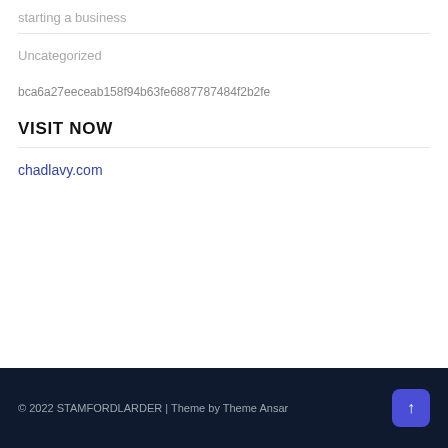starting a business
Uncategorized
bca6a27eeceab158f94b63fe6887787484f2b2fe
VISIT NOW
chadlavy.com
© 2022 STAMFORDLARDER | Theme by Theme Ansar